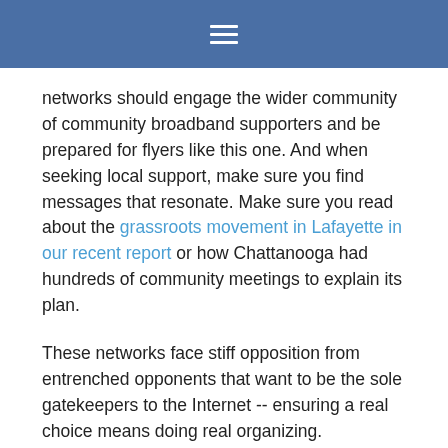☰
networks should engage the wider community of community broadband supporters and be prepared for flyers like this one. And when seeking local support, make sure you find messages that resonate. Make sure you read about the grassroots movement in Lafayette in our recent report or how Chattanooga had hundreds of community meetings to explain its plan.
These networks face stiff opposition from entrenched opponents that want to be the sole gatekeepers to the Internet -- ensuring a real choice means doing real organizing.
Paragould Sets An Example